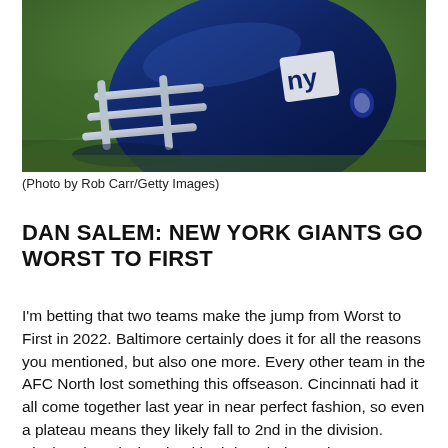[Figure (photo): A New York Giants football helmet resting on grass, photographed up close at a low angle. The helmet is blue with the NY Giants logo visible. The background is blurred green turf.]
(Photo by Rob Carr/Getty Images)
DAN SALEM: NEW YORK GIANTS GO WORST TO FIRST
I'm betting that two teams make the jump from Worst to First in 2022. Baltimore certainly does it for all the reasons you mentioned, but also one more. Every other team in the AFC North lost something this offseason. Cincinnati had it all come together last year in near perfect fashion, so even a plateau means they likely fall to 2nd in the division. Pittsburgh and Cleveland both lost their starting quarterbacks for quite different reasons, but that amount